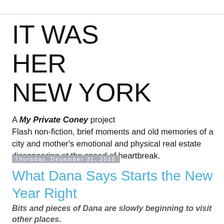IT WAS HER NEW YORK
A My Private Coney project
Flash non-fiction, brief moments and old memories of a city and mother's emotional and physical real estate disappearing at the speed of heartbreak.
Thursday, December 31, 2015
What Dana Says Starts the New Year Right
Bits and pieces of Dana are slowly beginning to visit other places.